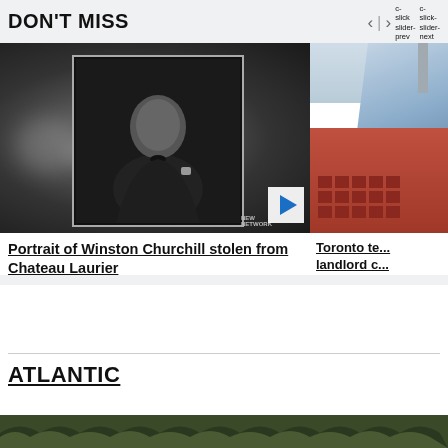DON'T MISS
c-slick-slider-prev c-slick-slider-next
[Figure (photo): Black and white photograph of Winston Churchill seated, holding a cane, inside a framed portrait. A play button triangle is visible in bottom right. A partial second image of Toronto buildings (glass modern tower and red brick building) is visible on the right.]
Portrait of Winston Churchill stolen from Chateau Laurier
Toronto te... landlord c...
ATLANTIC
[Figure (photo): Partial bottom strip showing a forested landscape, partially cut off.]